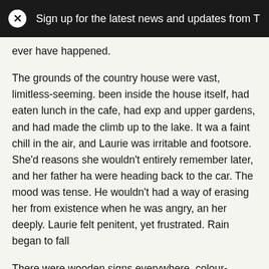Sign up for the latest news and updates from The D
ever have happened.
The grounds of the country house were vast, limitless-seeming. been inside the house itself, had eaten lunch in the cafe, had exp and upper gardens, and had made the climb up to the lake. It wa a faint chill in the air, and Laurie was irritable and footsore. She'd reasons she wouldn't entirely remember later, and her father ha were heading back to the car. The mood was tense. He wouldn't had a way of erasing her from existence when he was angry, an her deeply. Laurie felt penitent, yet frustrated. Rain began to fall
There were wooden signs everywhere, colour-coded, the directi black characters; she'd quickly taken to disregarding them. There shouldn't have ignored this one too, but she didn't. Her eyes sna LABYRINTH. She knew that a labyrinth was a kind of maze. The with weird excitement, not quite pleasant.
“Can we?” she asked. She aimed the question at her mother, ca